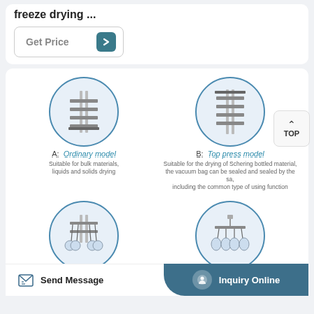freeze drying ...
Get Price →
[Figure (illustration): Four freeze dryer model types shown in circular diagrams: A Ordinary model, B Top press model, C Multi-pipeline model, D Top press multi-manifold model]
A: Ordinary model
Suitable for bulk materials, liquids and solids drying
B: Top press model
Suitable for the drying of Schering bottled material, the vacuum bag can be sealed and sealed by the sa, including the common type of using function
C: Multi-pipeline model
D: Top press multi-manifold model
Send Message
Inquiry Online